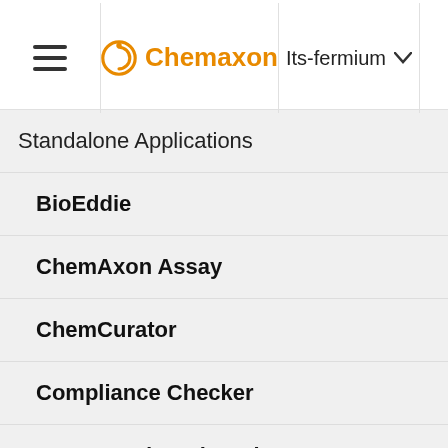≡  Chemaxon  Its-fermium ▾  🔍
Standalone Applications ◀
BioEddie ▷
ChemAxon Assay ▷
ChemCurator ▷
Compliance Checker ▷
Compound Registration ▷
Instant JChem ◀
Instant Jchem User Guide ◀
Getting Started ▷
nodes for each item depend on the type of item.